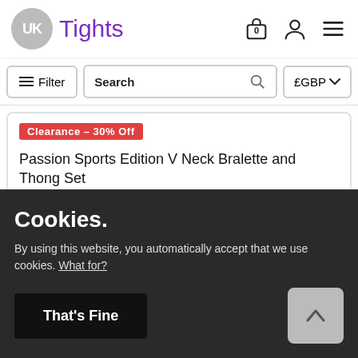UK Tights
Filter | Search | £GBP
Clearance – 30% Off
Passion Sports Edition V Neck Bralette and Thong Set
Cookies.
By using this website, you automatically accept that we use cookies. What for?
That's Fine